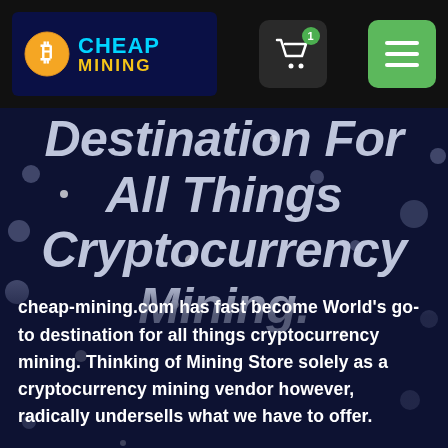[Figure (screenshot): Cheap Mining website header with logo (Bitcoin icon, CHEAP MINING text in cyan and yellow), shopping cart button with green badge showing '1', and green hamburger menu button on dark navbar]
Destination For All Things Cryptocurrency Mining.
cheap-mining.com has fast become World's go-to destination for all things cryptocurrency mining. Thinking of Mining Store solely as a cryptocurrency mining vendor however, radically undersells what we have to offer.